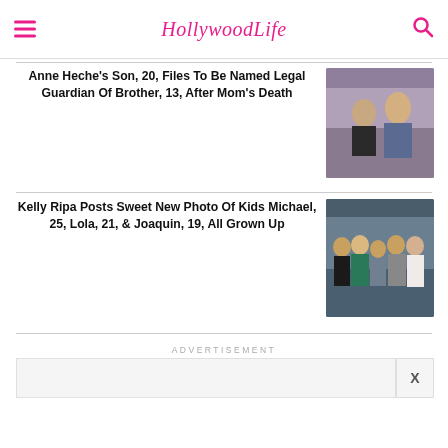HollywoodLife
Anne Heche’s Son, 20, Files To Be Named Legal Guardian Of Brother, 13, After Mom’s Death
[Figure (photo): Photo of Anne Heche with children outdoors]
Kelly Ripa Posts Sweet New Photo Of Kids Michael, 25, Lola, 21, & Joaquin, 19, All Grown Up
[Figure (photo): Photo of Kelly Ripa with family group dressed formally]
ADVERTISEMENT